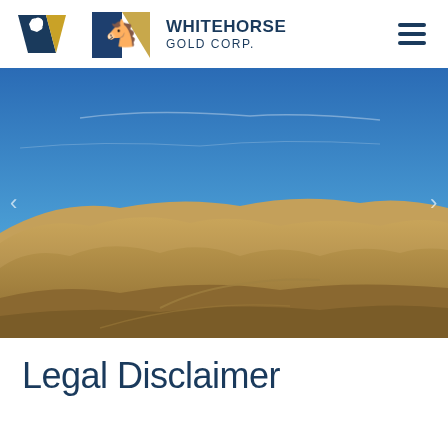[Figure (logo): Whitehorse Gold Corp. logo with stylized horse head in blue and gold]
WHITEHORSE
GOLD CORP.
[Figure (photo): Aerial or ground-level photograph of an open-pit mine site with brown/tan desert hills and clear blue sky]
Legal Disclaimer